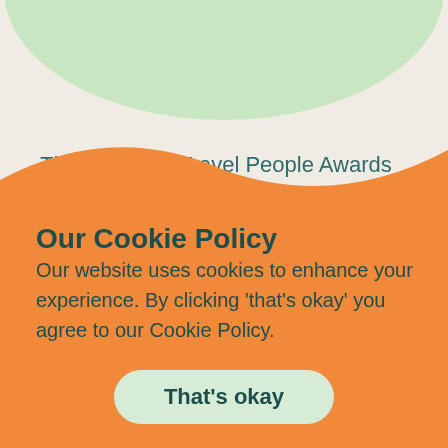The Business Travel People Awards will take place on September 13th at the Leonardo Royal London City Hotel.
Our Cookie Policy
Our website uses cookies to enhance your experience. By clicking 'that's okay' you agree to our Cookie Policy.
That's okay